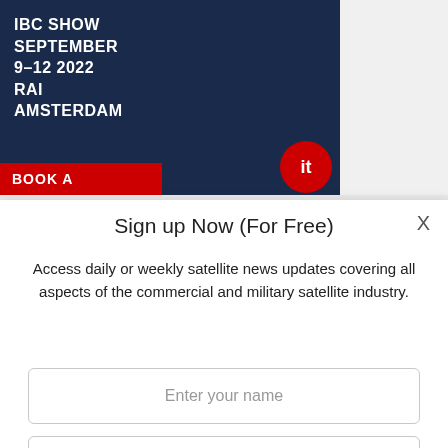[Figure (illustration): IBC Show advertisement banner with dark blue background and red booking strip. Text reads: IBC SHOW SEPTEMBER 9-12 2022 RAI AMSTERDAM. Red strip at bottom with BOOK A text and circular logo.]
Sign up Now (For Free)
Access daily or weekly satellite news updates covering all aspects of the commercial and military satellite industry.
Enter your name
Enter your email
Notify Me Regarding ( At least one ):
SatNews Daily